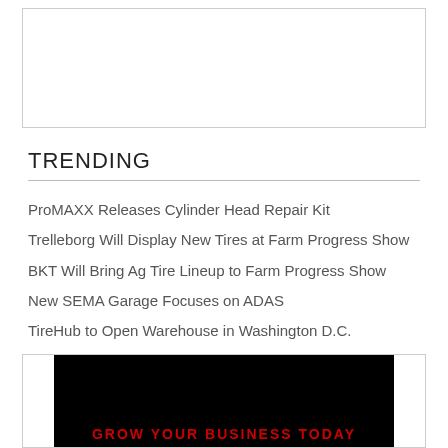[Figure (other): Top advertisement box placeholder]
TRENDING
ProMAXX Releases Cylinder Head Repair Kit
Trelleborg Will Display New Tires at Farm Progress Show
BKT Will Bring Ag Tire Lineup to Farm Progress Show
New SEMA Garage Focuses on ADAS
TireHub to Open Warehouse in Washington D.C.
Podcast: Everything You Need to Know About Harvester Tires
[Figure (other): Bottom advertisement box with black background and red text: GROW YOUR BUSINESS TODAY]